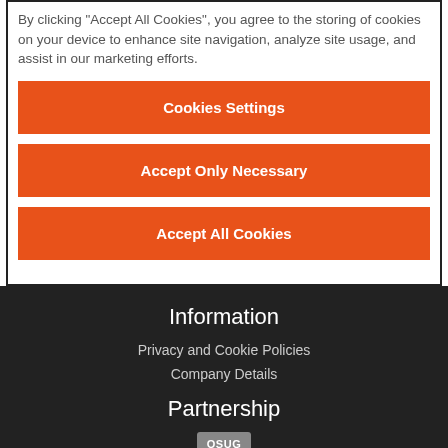By clicking "Accept All Cookies", you agree to the storing of cookies on your device to enhance site navigation, analyze site usage, and assist in our marketing efforts.
Cookies Settings
Accept Only Necessary
Accept All Cookies
Information
Privacy and Cookie Policies
Company Details
Partnership
[Figure (logo): OSUG badge/logo]